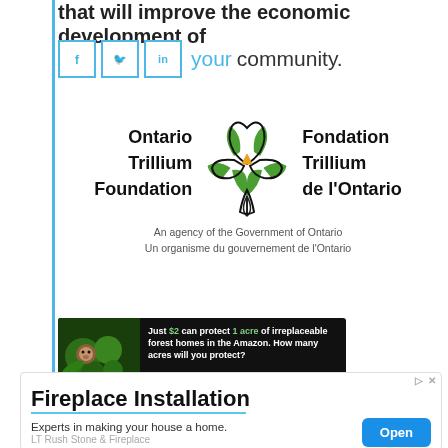that will improve the economic development of
your community.
[Figure (logo): Ontario Trillium Foundation / Fondation Trillium de l'Ontario logo with trillium flower graphic. An agency of the Government of Ontario / Un organisme du gouvernement de l'Ontario]
[Figure (infographic): Amazon forest ad: Just $2 can protect 1 acre of irreplaceable forest homes in the Amazon. How many acres will you protect? PROTECT FORESTS NOW]
[Figure (infographic): Fireplace Installation ad. Experts in making your house a home. LT Rush Stone & Fireplace. Open button.]